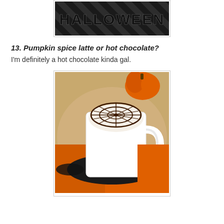[Figure (photo): Halloween banner image with diagonal stripe dark background and 'HALLOWEEN' text in bold black letters]
13. Pumpkin spice latte or hot chocolate?
I'm definitely a hot chocolate kinda gal.
[Figure (photo): A white mug of hot chocolate topped with a spiderweb design drawn in chocolate syrup, placed on an orange and black Halloween-themed setting with a small orange pumpkin in the background]